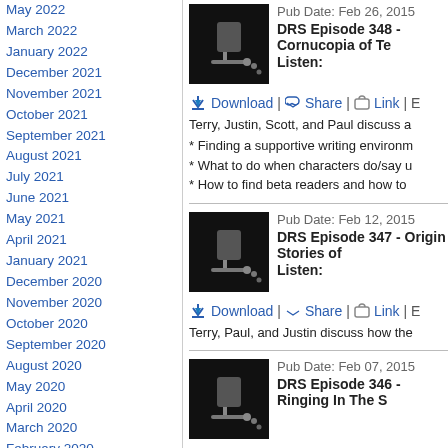May 2022
March 2022
January 2022
December 2021
November 2021
October 2021
September 2021
August 2021
July 2021
June 2021
May 2021
April 2021
January 2021
December 2020
November 2020
October 2020
September 2020
August 2020
May 2020
April 2020
March 2020
February 2020
January 2020
December 2019
November 2019
September 2019
August 2019
July 2019
June 2019
May 2019
April 2019
March 2019
February 2019
Pub Date: Feb 26, 2015
DRS Episode 348 - Cornucopia of Te...
Listen:
Download | Share | Link | E...
Terry, Justin, Scott, and Paul discuss a...
* Finding a supportive writing environm...
* What to do when characters do/say u...
* How to find beta readers and how to...
Pub Date: Feb 12, 2015
DRS Episode 347 - Origin Stories of...
Listen:
Download | Share | Link | E...
Terry, Paul, and Justin discuss how the...
Pub Date: Feb 07, 2015
DRS Episode 346 - Ringing In The S...